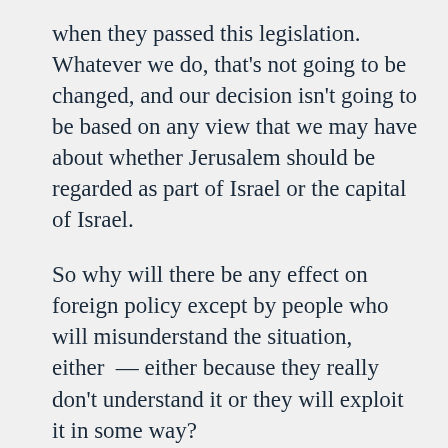when they passed this legislation. Whatever we do, that's not going to be changed, and our decision isn't going to be based on any view that we may have about whether Jerusalem should be regarded as part of Israel or the capital of Israel.
So why will there be any effect on foreign policy except by people who will misunderstand the situation, either — either because they really don't understand it or they will exploit it in some way?